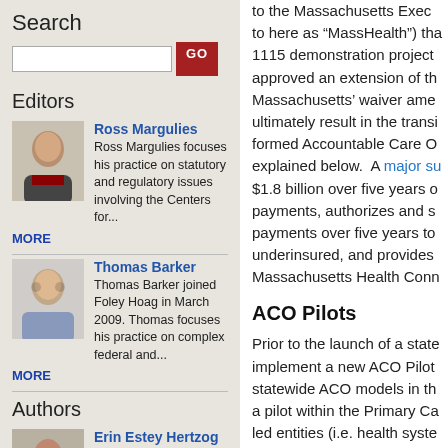Search
Editors
Ross Margulies
Ross Margulies focuses his practice on statutory and regulatory issues involving the Centers for...
MORE
Thomas Barker
Thomas Barker joined Foley Hoag in March 2009. Thomas focuses his practice on complex federal and...
MORE
Authors
Erin Estey Hertzog
to the Massachusetts Exec to here as “MassHealth”) tha 1115 demonstration project approved an extension of th Massachusetts’ waiver ame ultimately result in the transi formed Accountable Care O explained below. A major su $1.8 billion over five years o payments, authorizes and s payments over five years to underinsured, and provides Massachusetts Health Conn
ACO Pilots
Prior to the launch of a state implement a new ACO Pilot statewide ACO models in th a pilot within the Primary Ca led entities (i.e. health syste